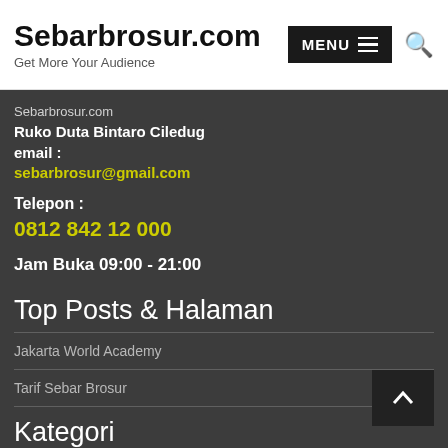Sebarbrosur.com
Get More Your Audience
Sebarbrosur.com
Ruko Duta Bintaro Ciledug
email :
sebarbrosur@gmail.com
Telepon :
0812 842 12 000
Jam Buka 09:00 - 21:00
Top Posts & Halaman
Jakarta World Academy
Tarif Sebar Brosur
Kategori